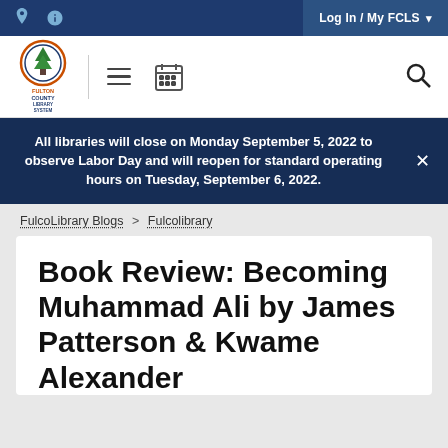Log In / My FCLS
[Figure (logo): Fulton County Library System logo with tree icon and circular orange/blue ring]
All libraries will close on Monday September 5, 2022 to observe Labor Day and will reopen for standard operating hours on Tuesday, September 6, 2022.
FulcoLibrary Blogs > Fulcolibrary
Book Review: Becoming Muhammad Ali by James Patterson & Kwame Alexander